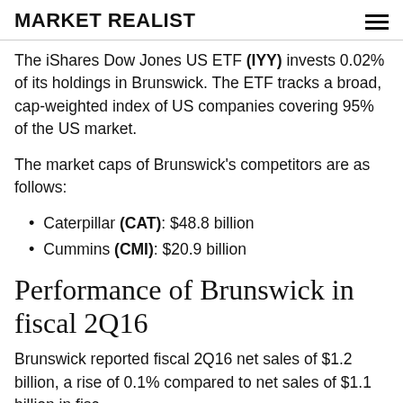MARKET REALIST
The iShares Dow Jones US ETF (IYY) invests 0.02% of its holdings in Brunswick. The ETF tracks a broad, cap-weighted index of US companies covering 95% of the US market.
The market caps of Brunswick's competitors are as follows:
Caterpillar (CAT): $48.8 billion
Cummins (CMI): $20.9 billion
Performance of Brunswick in fiscal 2Q16
Brunswick reported fiscal 2Q16 net sales of $1.2 billion, a rise of 0.1% compared to net sales of $1.1 billion in fiscal…